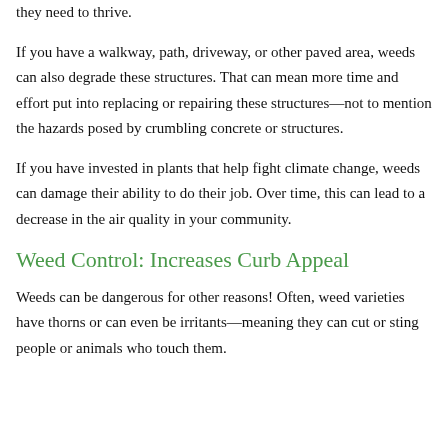they need to thrive.
If you have a walkway, path, driveway, or other paved area, weeds can also degrade these structures. That can mean more time and effort put into replacing or repairing these structures—not to mention the hazards posed by crumbling concrete or structures.
If you have invested in plants that help fight climate change, weeds can damage their ability to do their job. Over time, this can lead to a decrease in the air quality in your community.
Weed Control: Increases Curb Appeal
Weeds can be dangerous for other reasons! Often, weed varieties have thorns or can even be irritants—meaning they can cut or sting people or animals who touch them.